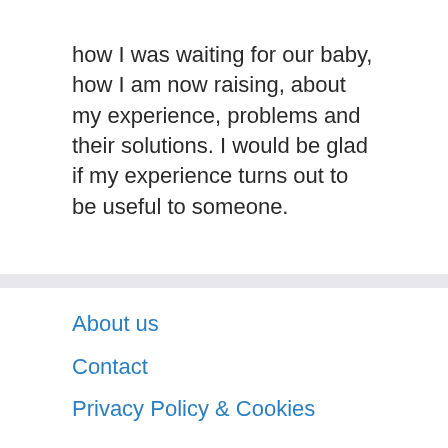how I was waiting for our baby, how I am now raising, about my experience, problems and their solutions. I would be glad if my experience turns out to be useful to someone.
About us
Contact
Privacy Policy & Cookies
ATTENTION TO RIGHT HOLDERS! All materials are posted on the site strictly for informational and educational purposes! If you believe that the posting of any material infringes your copyright, be sure to contact